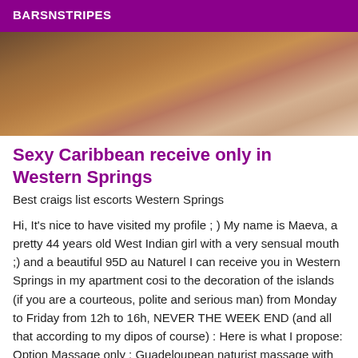BARSNSTRIPES
[Figure (photo): Close-up photograph with warm brown tones]
Sexy Caribbean receive only in Western Springs
Best craigs list escorts Western Springs
Hi, It's nice to have visited my profile ; ) My name is Maeva, a pretty 44 years old West Indian girl with a very sensual mouth ;) and a beautiful 95D au Naturel I can receive you in Western Springs in my apartment cosi to the decoration of the islands (if you are a courteous, polite and serious man) from Monday to Friday from 12h to 16h, NEVER THE WEEK END (and all that according to my dipos of course) : Here is what I propose: Option Massage only : Guadeloupean naturist massage with naughty finish(25/30min) : 80 roses. with protected